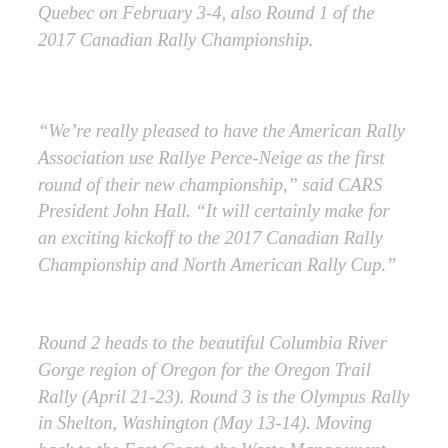Quebec on February 3-4, also Round 1 of the 2017 Canadian Rally Championship.
“We’re really pleased to have the American Rally Association use Rallye Perce-Neige as the first round of their new championship,” said CARS President John Hall. “It will certainly make for an exciting kickoff to the 2017 Canadian Rally Championship and North American Rally Cup.”
Round 2 heads to the beautiful Columbia River Gorge region of Oregon for the Oregon Trail Rally (April 21-23). Round 3 is the Olympus Rally in Shelton, Washington (May 13-14). Moving back to the East Coast, the Waste Management Susquehannock Trail